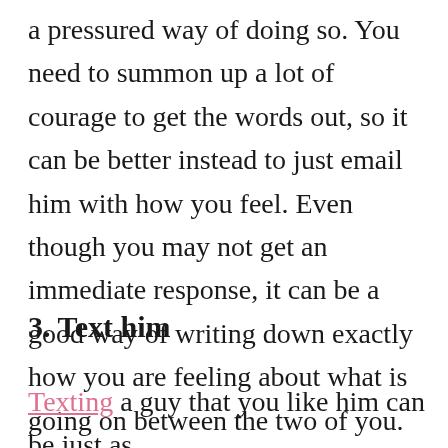a pressured way of doing so. You need to summon up a lot of courage to get the words out, so it can be better instead to just email him with how you feel. Even though you may not get an immediate response, it can be a good way of writing down exactly how you are feeling about what is going on between the two of you.
3. Text him
Texting a guy that you like him can be just as